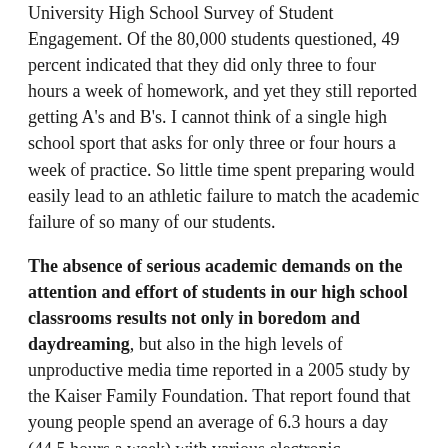University High School Survey of Student Engagement. Of the 80,000 students questioned, 49 percent indicated that they did only three to four hours a week of homework, and yet they still reported getting A's and B's. I cannot think of a single high school sport that asks for only three or four hours a week of practice. So little time spent preparing would easily lead to an athletic failure to match the academic failure of so many of our students.
The absence of serious academic demands on the attention and effort of students in our high school classrooms results not only in boredom and daydreaming, but also in the high levels of unproductive media time reported in a 2005 study by the Kaiser Family Foundation. That report found that young people spend an average of 6.3 hours a day (44.5 hours a week) with various electronic entertainment media; they're not doing homework on the computer, merely entertaining themselves.